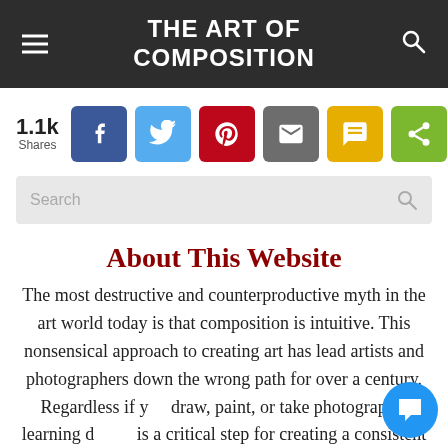THE ART OF COMPOSITION
1.1k Shares
[Figure (infographic): Social share buttons: Facebook, Twitter, Pinterest, Email, SMS, Share More]
[Figure (screenshot): Search input bar with magnifying glass icon]
About This Website
The most destructive and counterproductive myth in the art world today is that composition is intuitive. This nonsensical approach to creating art has lead artists and photographers down the wrong path for over a century. Regardless if you draw, paint, or take photographs, learning d… is a critical step for creating a consistent and